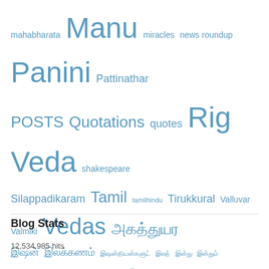[Figure (infographic): Tag cloud with mixed English and Tamil script tags in various font sizes, all in blue color. Tags include: mahabharata, Manu, miracles, news roundup, Panini, Pattinathar, POSTS, Quotations, quotes, Rig Veda, shakespeare, Silappadikaram, Tamil, tamilhindu, Tirukkural, Valluvar, Valmiki, Vedas, and numerous Tamil script tags.]
Blog Stats
12,534,985 hits